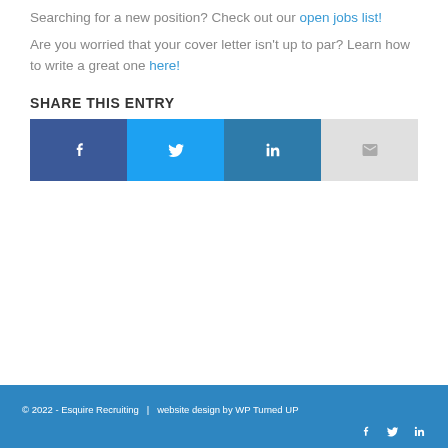Searching for a new position? Check out our open jobs list!
Are you worried that your cover letter isn't up to par? Learn how to write a great one here!
SHARE THIS ENTRY
[Figure (infographic): Four social share buttons: Facebook (dark blue, f icon), Twitter (light blue, bird icon), LinkedIn (medium blue, in icon), Email (light grey, envelope icon)]
© 2022 - Esquire Recruiting   |  website design by WP Turned UP